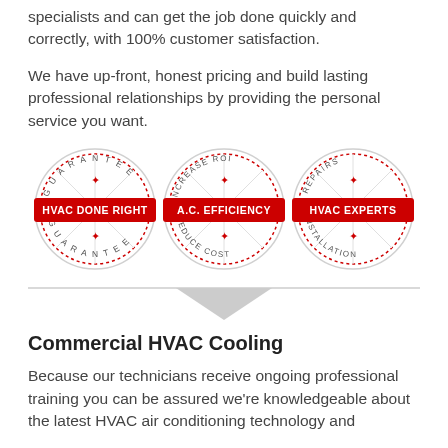specialists and can get the job done quickly and correctly, with 100% customer satisfaction.
We have up-front, honest pricing and build lasting professional relationships by providing the personal service you want.
[Figure (illustration): Three circular badge/stamp illustrations: 1) HVAC DONE RIGHT with text GUARANTEE around the circle; 2) A.C. EFFICIENCY with text INCREASE ROI / REDUCE COST around the circle; 3) HVAC EXPERTS with text REPAIRS / INSTALLATION around the circle. Each badge has a red banner across the center with white bold text, and a decorative star pattern in the background.]
[Figure (illustration): A gray downward-pointing chevron/arrow divider graphic spanning the full width.]
Commercial HVAC Cooling
Because our technicians receive ongoing professional training you can be assured we're knowledgeable about the latest HVAC air conditioning technology and